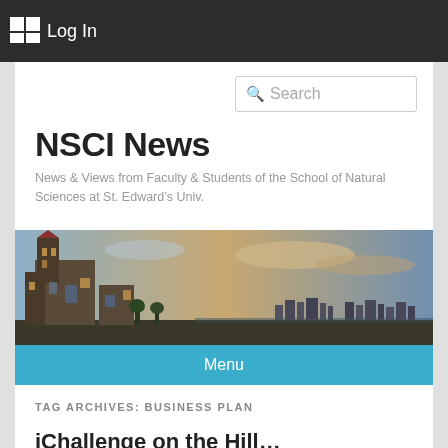Log In
NSCI News
News & Views from Faculty & Students of the School of Natural Sciences at St. Edward's Univ.
[Figure (photo): Panoramic banner photo showing a historic university building with a tower at sunset, with a city skyline in the background under partly cloudy skies.]
Menu
TAG ARCHIVES: BUSINESS PLAN
iChallenge on the Hill...